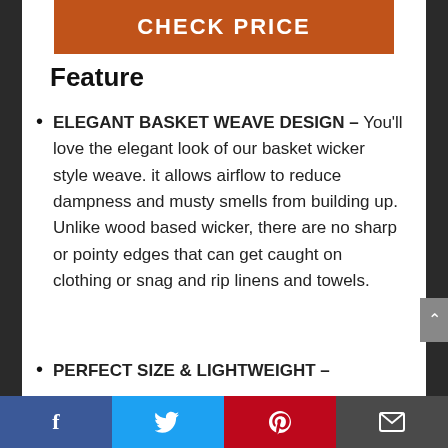[Figure (other): Orange CHECK PRICE button banner]
Feature
ELEGANT BASKET WEAVE DESIGN – You'll love the elegant look of our basket wicker style weave. it allows airflow to reduce dampness and musty smells from building up. Unlike wood based wicker, there are no sharp or pointy edges that can get caught on clothing or snag and rip linens and towels.
PERFECT SIZE & LIGHTWEIGHT –
Facebook | Twitter | Pinterest | Email